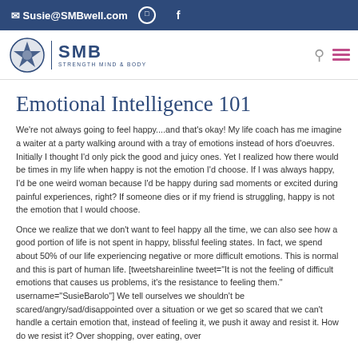Susie@SMBwell.com [instagram] [apple] [facebook]
[Figure (logo): SMB Strength Mind & Body star logo with navigation icons]
Emotional Intelligence 101
We're not always going to feel happy....and that's okay! My life coach has me imagine a waiter at a party walking around with a tray of emotions instead of hors d'oeuvres. Initially I thought I'd only pick the good and juicy ones. Yet I realized how there would be times in my life when happy is not the emotion I'd choose. If I was always happy, I'd be one weird woman because I'd be happy during sad moments or excited during painful experiences, right? If someone dies or if my friend is struggling, happy is not the emotion that I would choose.
Once we realize that we don't want to feel happy all the time, we can also see how a good portion of life is not spent in happy, blissful feeling states. In fact, we spend about 50% of our life experiencing negative or more difficult emotions. This is normal and this is part of human life. [tweetshareinline tweet="It is not the feeling of difficult emotions that causes us problems, it's the resistance to feeling them." username="SusieBarolo"] We tell ourselves we shouldn't be scared/angry/sad/disappointed over a situation or we get so scared that we can't handle a certain emotion that, instead of feeling it, we push it away and resist it. How do we resist it? Over shopping, over eating, over